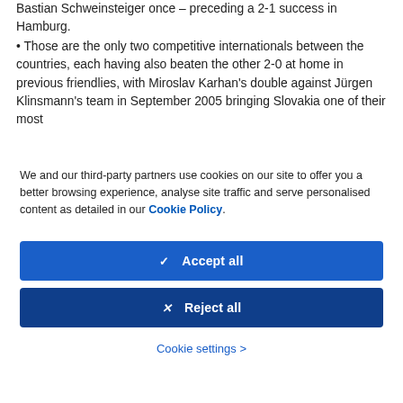Bastian Schweinsteiger once – preceding a 2-1 success in Hamburg.
• Those are the only two competitive internationals between the countries, each having also beaten the other 2-0 at home in previous friendlies, with Miroslav Karhan's double against Jürgen Klinsmann's team in September 2005 bringing Slovakia one of their most
We and our third-party partners use cookies on our site to offer you a better browsing experience, analyse site traffic and serve personalised content as detailed in our Cookie Policy.
✓  Accept all
✕  Reject all
Cookie settings >